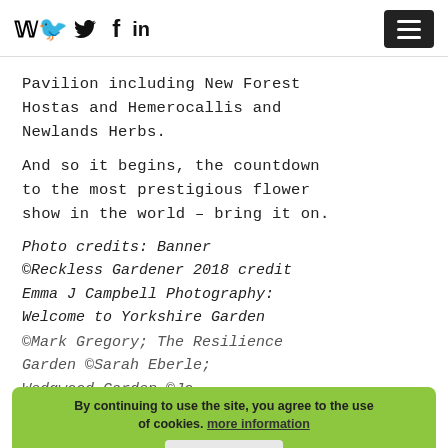Social icons: Twitter, Facebook, LinkedIn; Hamburger menu button
Pavilion including New Forest Hostas and Hemerocallis and Newlands Herbs.
And so it begins, the countdown to the most prestigious flower show in the world – bring it on.
Photo credits: Banner ©Reckless Gardener 2018 credit Emma J Campbell Photography: Welcome to Yorkshire Garden ©Mark Gregory; The Resilience Garden ©Sarah Eberle; Wedgwood Garden ©Jo Thompson; The Facebook
By continuing to use the site, you agree to the use of cookies. more information  ACCEPT